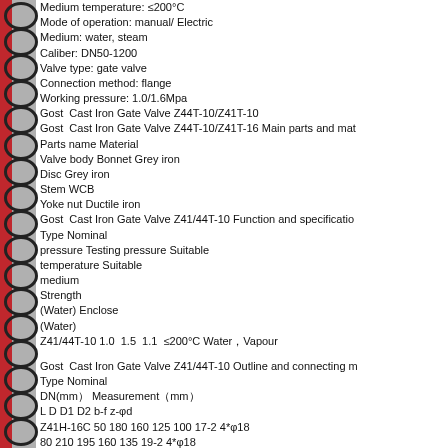Medium temperature: ≤200°C
Mode of operation: manual/ Electric
Medium: water, steam
Caliber: DN50-1200
Valve type: gate valve
Connection method: flange
Working pressure: 1.0/1.6Mpa
Gost  Cast Iron Gate Valve Z44T-10/Z41T-10
Gost  Cast Iron Gate Valve Z44T-10/Z41T-16 Main parts and mat
Parts name Material
Valve body Bonnet Grey iron
Disc Grey iron
Stem WCB
Yoke nut Ductile iron
Gost  Cast Iron Gate Valve Z41/44T-10 Function and specificatio
Type Nominal
pressure Testing pressure Suitable
temperature Suitable
medium
Strength
(Water) Enclose
(Water)
Z41/44T-10 1.0  1.5  1.1  ≤200°C Water，Vapour
Gost  Cast Iron Gate Valve Z41/44T-10 Outline and connecting m
Type Nominal
DN(mm） Measurement（mm）
L D D1 D2 b-f z-φd
Z41H-16C 50 180 160 125 100 17-2 4*φ18
80 210 195 160 135 19-2 4*φ18